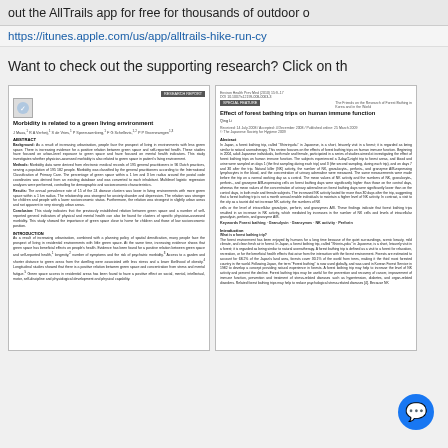out the AllTrails app for free for thousands of outdoor o
https://itunes.apple.com/us/app/alltrails-hike-run-cy
Want to check out the supporting research? Click on th
[Figure (screenshot): Thumbnail of scientific paper: Morbidity is related to a green living environment]
[Figure (screenshot): Thumbnail of scientific paper: Effect of forest bathing trips on human immune function]